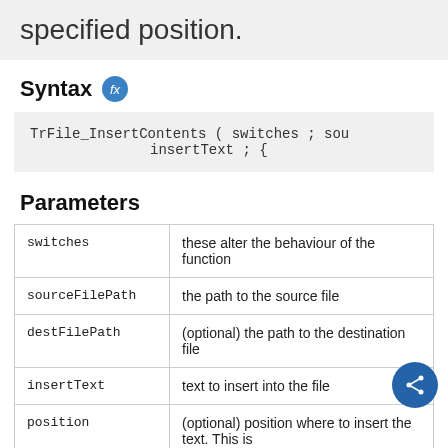specified position.
Syntax
TrFile_InsertContents ( switches ; sou
                        insertText ; {
Parameters
| Parameter | Description |
| --- | --- |
| switches | these alter the behaviour of the function |
| sourceFilePath | the path to the source file |
| destFilePath | (optional) the path to the destination file |
| insertText | text to insert into the file |
| position | (optional) position where to insert the text. This is |